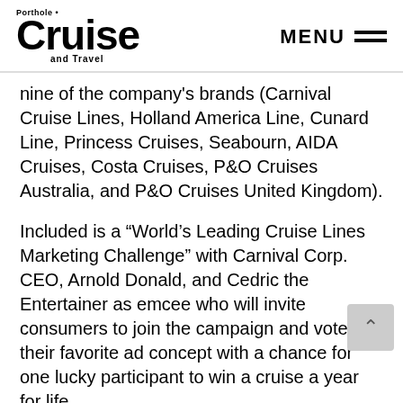Porthole Cruise and Travel — MENU
nine of the company's brands (Carnival Cruise Lines, Holland America Line, Cunard Line, Princess Cruises, Seabourn, AIDA Cruises, Costa Cruises, P&O Cruises Australia, and P&O Cruises United Kingdom).
Included is a “World’s Leading Cruise Lines Marketing Challenge” with Carnival Corp. CEO, Arnold Donald, and Cedric the Entertainer as emcee who will invite consumers to join the campaign and vote for their favorite ad concept with a chance for one lucky participant to win a cruise a year for life.